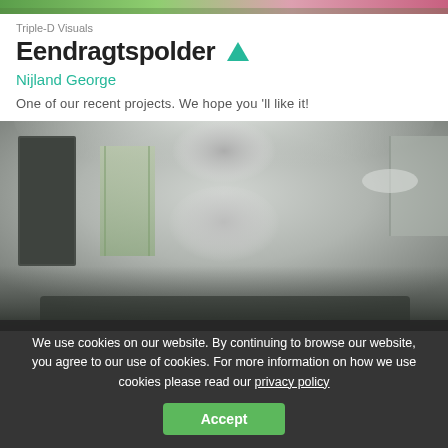[Figure (photo): Top banner image showing garden/floral background in green and pink tones]
Triple-D Visuals
Eendragtspolder ▲
Nijland George
One of our recent projects. We hope you 'll like it!
[Figure (photo): Interior 3D render of a modern living room with ornate chandelier on ceiling, dark door on left, windows with curtains, and dark furniture visible at bottom. Predominantly grey/white tones.]
We use cookies on our website. By continuing to browse our website, you agree to our use of cookies. For more information on how we use cookies please read our privacy policy
Accept